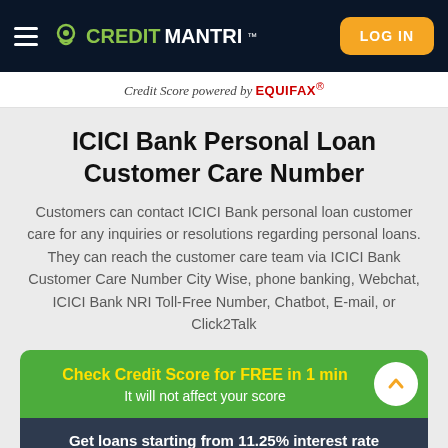CreditMantri — LOG IN
Credit Score powered by EQUIFAX®
ICICI Bank Personal Loan Customer Care Number
Customers can contact ICICI Bank personal loan customer care for any inquiries or resolutions regarding personal loans. They can reach the customer care team via ICICI Bank Customer Care Number City Wise, phone banking, Webchat, ICICI Bank NRI Toll-Free Number, Chatbot, E-mail, or Click2Talk
Check Credit Score for FREE in 1 min
It will not affect your score
Get loans starting from 11.25% interest rate